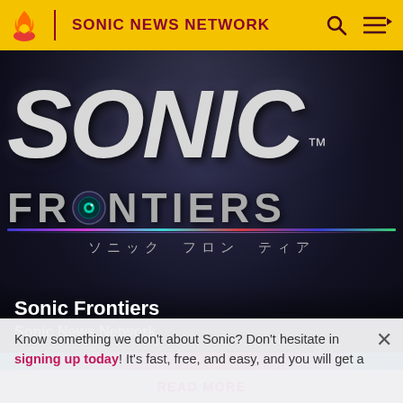SONIC NEWS NETWORK
[Figure (screenshot): Sonic Frontiers game logo on dark background with Japanese katakana text below]
Sonic Frontiers
Sonic News Network
[Figure (screenshot): Partial view of another article image with teal and red colors]
Know something we don't about Sonic? Don't hesitate in signing up today! It's fast, free, and easy, and you will get a
READ MORE